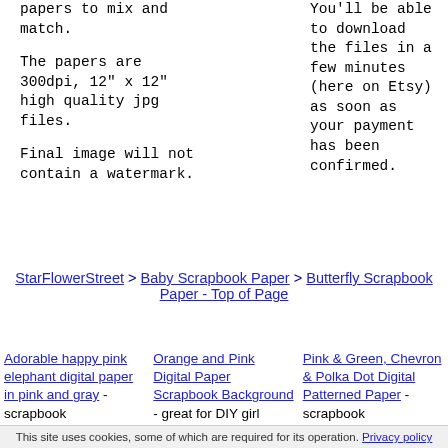papers to mix and match.
The papers are 300dpi, 12" x 12" high quality jpg files.
Final image will not contain a watermark.
You'll be able to download the files in a few minutes (here on Etsy) as soon as your payment has been confirmed.
StarFlowerStreet > Baby Scrapbook Paper > Butterfly Scrapbook Paper - Top of Page
Adorable happy pink elephant digital paper in pink and gray - scrapbook
Orange and Pink Digital Paper Scrapbook Background - great for DIY girl
Pink & Green, Chevron & Polka Dot Digital Patterned Paper - scrapbook
This site uses cookies, some of which are required for its operation. Privacy policy